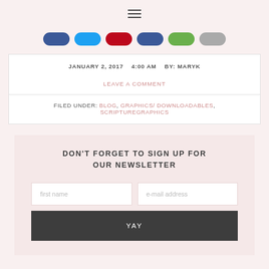☰ (hamburger menu icon)
[Figure (other): Row of social sharing buttons in blue, teal, red, dark blue, green, and gray colors]
JANUARY 2, 2017   4:00 AM   BY: MARYK
LEAVE A COMMENT
FILED UNDER: BLOG, GRAPHICS/ DOWNLOADABLES, SCRIPTUREGRAPHICS
DON'T FORGET TO SIGN UP FOR OUR NEWSLETTER
first name   e-mail address   YAY